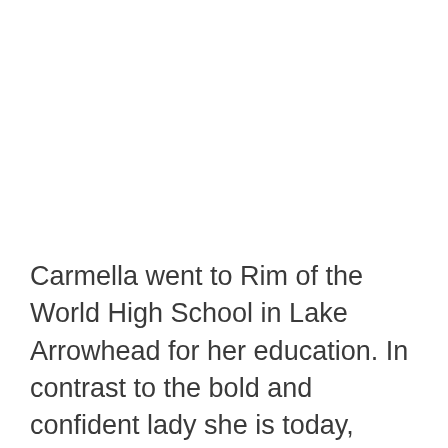Carmella went to Rim of the World High School in Lake Arrowhead for her education. In contrast to the bold and confident lady she is today, Carmella was a shy teenage girl. She was discovered during her teenage years, and was signed to the One Management modeling agency, which marked the start of her career.